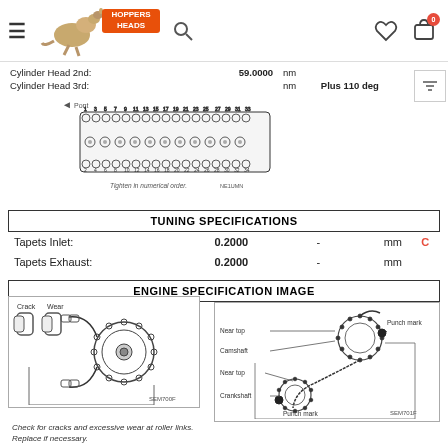Hoppers Heads - navigation bar with logo, search, wishlist and cart icons
| Specification | Value | Unit | Note |
| --- | --- | --- | --- |
| Cylinder Head 2nd: | 59.0000 | nm |  |
| Cylinder Head 3rd: |  | nm | Plus 110 deg |
[Figure (engineering-diagram): Cylinder head bolt tightening sequence diagram showing numbered bolt positions with text 'Tighten in numerical order']
TUNING SPECIFICATIONS
| Specification | Value | Unit | Flag |
| --- | --- | --- | --- |
| Tapets Inlet: | 0.2000  - | mm | C |
| Tapets Exhaust: | 0.2000  - | mm |  |
ENGINE  SPECIFICATION IMAGE
[Figure (engineering-diagram): Engine timing chain diagram showing crack and wear check of roller links, labeled SEM700F]
[Figure (engineering-diagram): Engine timing chain alignment diagram showing camshaft, crankshaft, punch marks and near top positions, labeled SEM701F]
Check for cracks and excessive wear at roller links.
Replace if necessary.